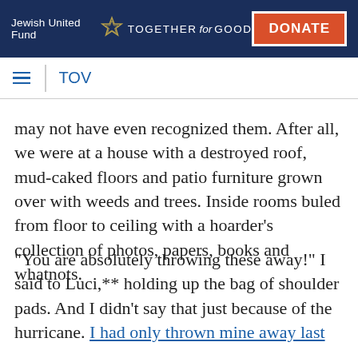Jewish United Fund TOGETHER for GOOD | DONATE
TOV
may not have even recognized them. After all, we were at a house with a destroyed roof, mud-caked floors and patio furniture grown over with weeds and trees. Inside rooms buled from floor to ceiling with a hoarder’s collection of photos, papers, books and whatnots.
“You are absolutely throwing these away!” I said to Luci,** holding up the bag of shoulder pads. And I didn’t say that just because of the hurricane. I had only thrown mine away last